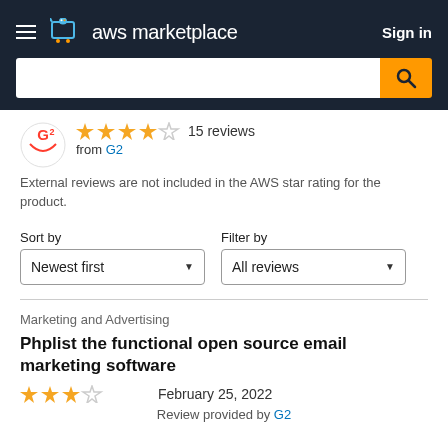[Figure (screenshot): AWS Marketplace header with logo, hamburger menu, and Sign in button on dark navy background]
[Figure (screenshot): Search bar with orange search button]
[Figure (logo): G2 logo icon]
15 reviews
from G2
External reviews are not included in the AWS star rating for the product.
Sort by
Newest first
Filter by
All reviews
Marketing and Advertising
Phplist the functional open source email marketing software
February 25, 2022
Review provided by G2